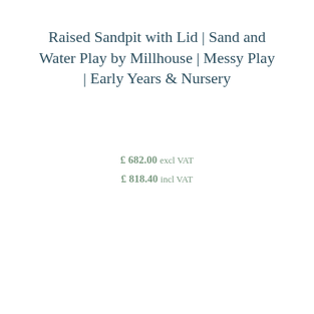Raised Sandpit with Lid | Sand and Water Play by Millhouse | Messy Play | Early Years & Nursery
£ 682.00 excl VAT
£ 818.40 incl VAT